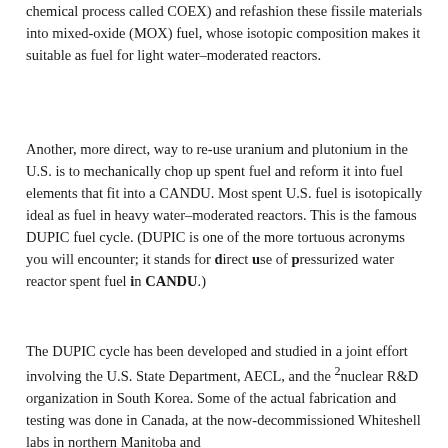chemical process called COEX) and refashion these fissile materials into mixed-oxide (MOX) fuel, whose isotopic composition makes it suitable as fuel for light water–moderated reactors.
Another, more direct, way to re-use uranium and plutonium in the U.S. is to mechanically chop up spent fuel and reform it into fuel elements that fit into a CANDU. Most spent U.S. fuel is isotopically ideal as fuel in heavy water–moderated reactors. This is the famous DUPIC fuel cycle. (DUPIC is one of the more tortuous acronyms you will encounter; it stands for direct use of pressurized water reactor spent fuel in CANDU.)
The DUPIC cycle has been developed and studied in a joint effort involving the U.S. State Department, AECL, and the nuclear R&D organization in South Korea. Some of the actual fabrication and testing was done in Canada, at the now-decommissioned Whiteshell labs in northern Manitoba and